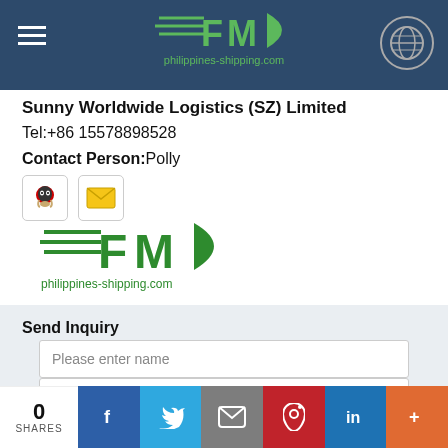philippines-shipping.com (FMD logo header)
Sunny Worldwide Logistics (SZ) Limited
Tel:+86 15578898528
Contact Person:Polly
[Figure (logo): FMD logo with speed lines and text 'philippines-shipping.com']
Send Inquiry
Please enter name
please enter your email
Please enter messages speall
0 SHARES | Facebook | Twitter | Email | Pinterest | LinkedIn | +